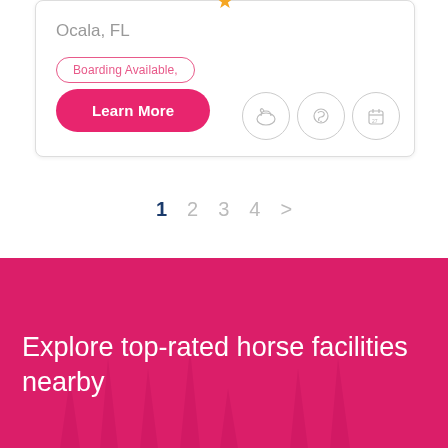Ocala, FL
Boarding Available,
Learn More
[Figure (other): Three circular icon buttons with line-art illustrations of horse-related activities]
1  2  3  4  >
Explore top-rated horse facilities nearby